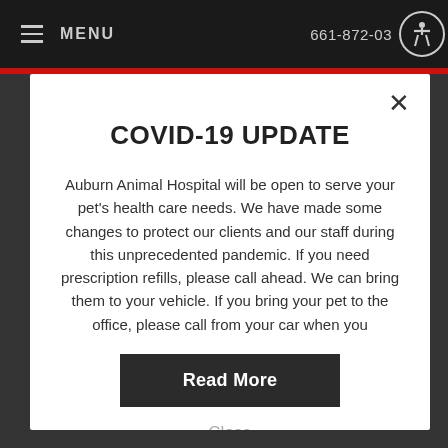≡ MENU   661-872-03...
COVID-19 UPDATE
Auburn Animal Hospital will be open to serve your pet's health care needs. We have made some changes to protect our clients and our staff during this unprecedented pandemic. If you need prescription refills, please call ahead. We can bring them to your vehicle. If you bring your pet to the office, please call from your car when you
Read More
Close